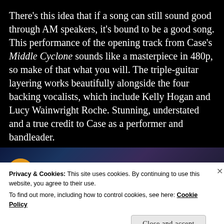There's this idea that if a song can still sound good through AM speakers, it's bound to be a good song. This performance of the opening track from Case's Middle Cyclone sounds like a masterpiece in 480p, so make of that what you will. The triple-guitar layering works beautifully alongside the four backing vocalists, which include Kelly Hogan and Lucy Wainwright Roche. Stunning, understated and a true credit to Case as a performer and bandleader.
[Figure (screenshot): Video thumbnail showing a musician performing, with a circular avatar/channel icon on the left and the title 'Mastodon - Curl of the bud live' in white text. Three vertical dots menu icon on the right.]
Privacy & Cookies: This site uses cookies. By continuing to use this website, you agree to their use.
To find out more, including how to control cookies, see here: Cookie Policy
Close and accept